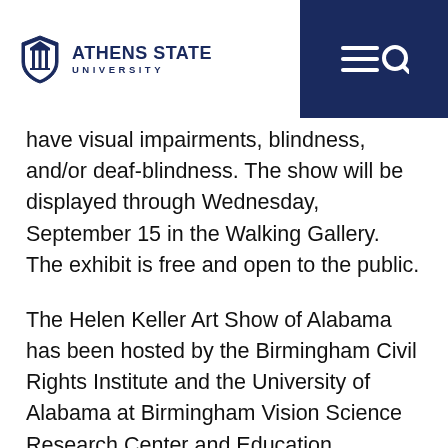Athens State University
have visual impairments, blindness, and/or deaf-blindness. The show will be displayed through Wednesday, September 15 in the Walking Gallery. The exhibit is free and open to the public.
The Helen Keller Art Show of Alabama has been hosted by the Birmingham Civil Rights Institute and the University of Alabama at Birmingham Vision Science Research Center and Education Outreach Module for over 20 years. The show travels throughout Alabama to eight museums over the course of the year.